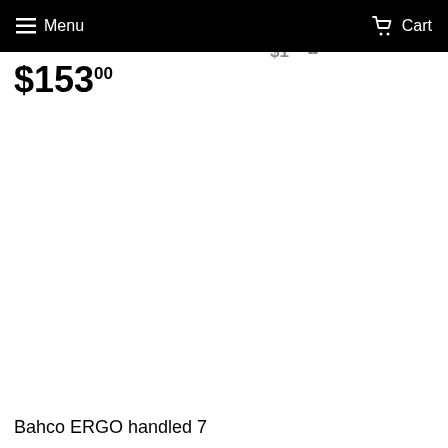Menu   Cart
$153.00
Bahco ERGO handled 7